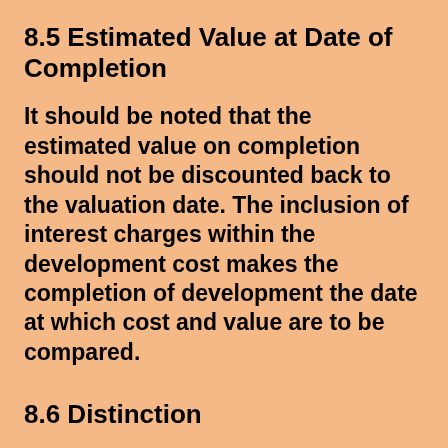8.5 Estimated Value at Date of Completion
It should be noted that the estimated value on completion should not be discounted back to the valuation date. The inclusion of interest charges within the development cost makes the completion of development the date at which cost and value are to be compared.
8.6 Distinction
Value ‘on completion’ or ‘at date of completion’ reflects the anticipated